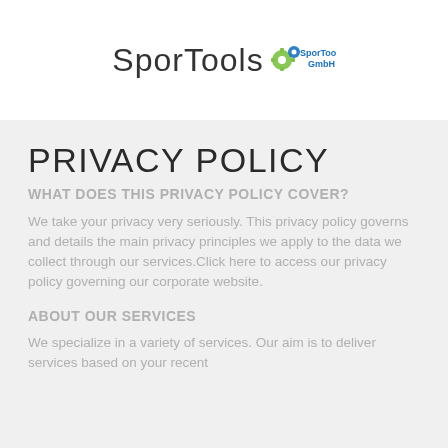[Figure (logo): SporTools GmbH logo with gear icon and company name text]
PRIVACY POLICY
WHAT DOES THIS PRIVACY POLICY COVER?
We take your privacy very seriously. This privacy policy governs and details the main privacy principles we apply to the data we collect through our services.Click here to access our privacy policy governing our corporate website.
ABOUT OUR SERVICES
We specialize in a variety of services. Our aim is to deliver services based on your recent